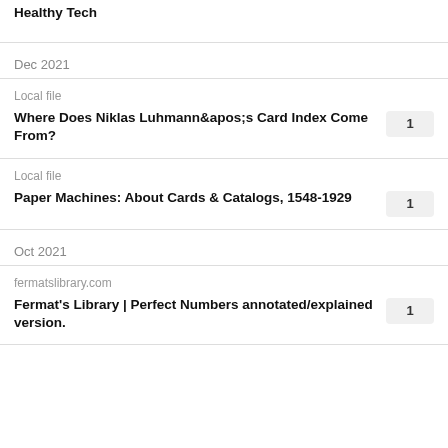Healthy Tech
Dec 2021
Local file
Where Does Niklas Luhmann&apos;s Card Index Come From?
Local file
Paper Machines: About Cards & Catalogs, 1548-1929
Oct 2021
fermatslibrary.com
Fermat's Library | Perfect Numbers annotated/explained version.